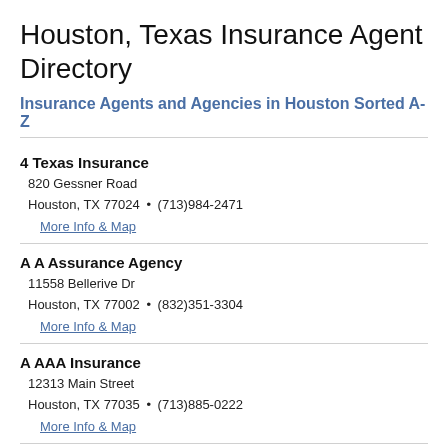Houston, Texas Insurance Agent Directory
Insurance Agents and Agencies in Houston Sorted A-Z
4 Texas Insurance
820 Gessner Road
Houston, TX 77024 • (713)984-2471
More Info & Map
A A Assurance Agency
11558 Bellerive Dr
Houston, TX 77002 • (832)351-3304
More Info & Map
A AAA Insurance
12313 Main Street
Houston, TX 77035 • (713)885-0222
More Info & Map
A and R Auto Insurance
459 Uvalde Rd
Houston, TX 77015 • (713)450-2250